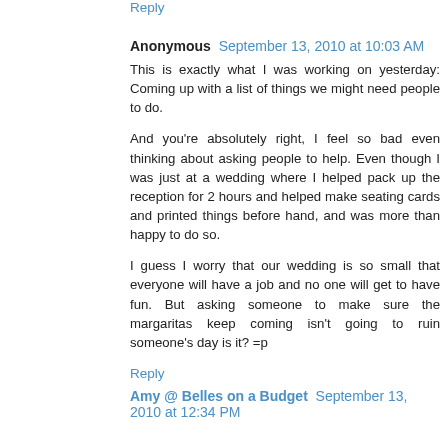Reply
Anonymous  September 13, 2010 at 10:03 AM
This is exactly what I was working on yesterday: Coming up with a list of things we might need people to do.
And you're absolutely right, I feel so bad even thinking about asking people to help. Even though I was just at a wedding where I helped pack up the reception for 2 hours and helped make seating cards and printed things before hand, and was more than happy to do so.
I guess I worry that our wedding is so small that everyone will have a job and no one will get to have fun. But asking someone to make sure the margaritas keep coming isn't going to ruin someone's day is it? =p
Reply
Amy @ Belles on a Budget  September 13, 2010 at 12:34 PM